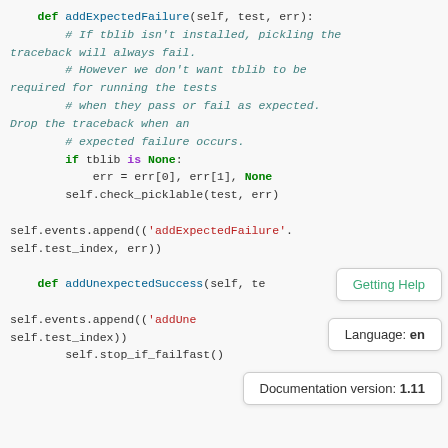[Figure (screenshot): Python source code snippet showing addExpectedFailure and addUnexpectedSuccess methods with syntax highlighting. Overlaid tooltip boxes showing 'Getting Help', 'Language: en', and 'Documentation version: 1.11'.]